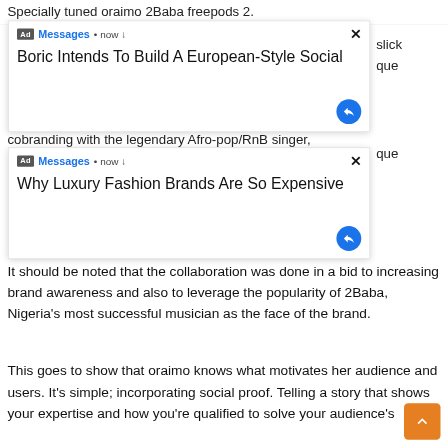Specially tuned oraimo 2Baba freepods 2.
[Figure (screenshot): Ad popup notification card 1: Ad • Messages • now ↓ with close button (×). Title: 'Boric Intends To Build A European-Style Social'. Blue circular reply button at bottom right.]
cobranding with the legendary Afro-pop/RnB singer,
[Figure (screenshot): Ad popup notification card 2: Ad • Messages • now ↓ with close button (×). Title: 'Why Luxury Fashion Brands Are So Expensive'. Blue circular reply button at bottom right.]
It should be noted that the collaboration was done in a bid to increasing brand awareness and also to leverage the popularity of 2Baba, Nigeria's most successful musician as the face of the brand.
This goes to show that oraimo knows what motivates her audience and users. It's simple; incorporating social proof. Telling a story that shows your expertise and how you're qualified to solve your audience's